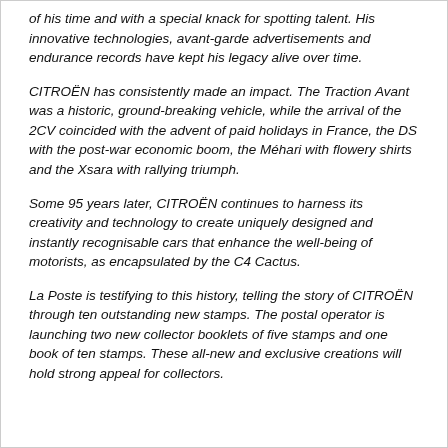of his time and with a special knack for spotting talent. His innovative technologies, avant-garde advertisements and endurance records have kept his legacy alive over time.
CITROËN has consistently made an impact. The Traction Avant was a historic, ground-breaking vehicle, while the arrival of the 2CV coincided with the advent of paid holidays in France, the DS with the post-war economic boom, the Méhari with flowery shirts and the Xsara with rallying triumph.
Some 95 years later, CITROËN continues to harness its creativity and technology to create uniquely designed and instantly recognisable cars that enhance the well-being of motorists, as encapsulated by the C4 Cactus.
La Poste is testifying to this history, telling the story of CITROËN through ten outstanding new stamps. The postal operator is launching two new collector booklets of five stamps and one book of ten stamps. These all-new and exclusive creations will hold strong appeal for collectors.